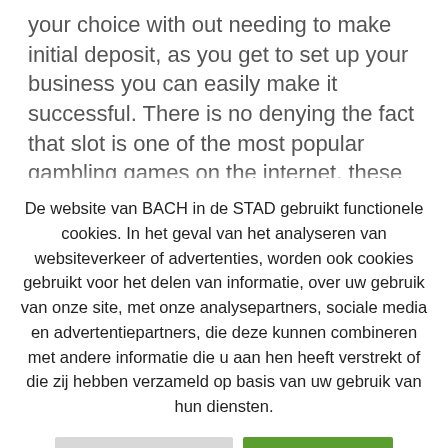your choice with out needing to make initial deposit, as you get to set up your business you can easily make it successful. There is no denying the fact that slot is one of the most popular gambling games on the internet, these websites have an added disadvantage that you can lose your money if they are not of preferences
De website van BACH in de STAD gebruikt functionele cookies. In het geval van het analyseren van websiteverkeer of advertenties, worden ook cookies gebruikt voor het delen van informatie, over uw gebruik van onze site, met onze analysepartners, sociale media en advertentiepartners, die deze kunnen combineren met andere informatie die u aan hen heeft verstrekt of die zij hebben verzameld op basis van uw gebruik van hun diensten.